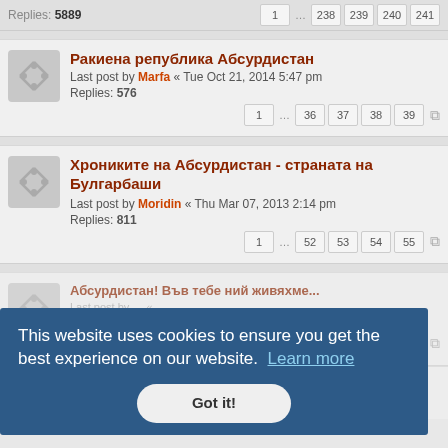Replies: 5889   1 ... 238 239 240 241
Ракиена република Абсурдистан
Last post by Marfa « Tue Oct 21, 2014 5:47 pm
Replies: 576
1 ... 36 37 38 39
Хрониките на Абсурдистан - страната на Булгарбаши
Last post by Moridin « Thu Mar 07, 2013 2:14 pm
Replies: 811
1 ... 52 53 54 55
Абсурдистан! Във тебе ний живяхме...
Replies: 1250
... 81 82 83 84
This website uses cookies to ensure you get the best experience on our website.  Learn more
Got it!
Абсурдистан, горе, отдолу и отвътре... (Part IV)
Last post by simple_stupid « Thu Mar 31, 2011 11:26 am